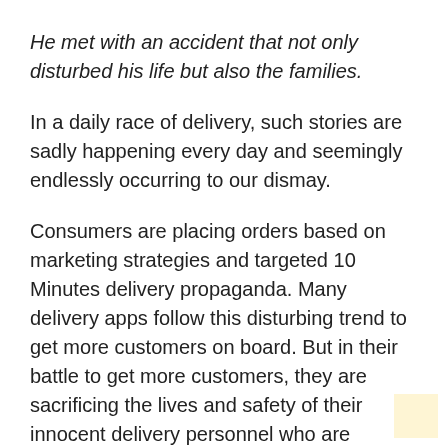He met with an accident that not only disturbed his life but also the families.
In a daily race of delivery, such stories are sadly happening every day and seemingly endlessly occurring to our dismay.
Consumers are placing orders based on marketing strategies and targeted 10 Minutes delivery propaganda. Many delivery apps follow this disturbing trend to get more customers on board. But in their battle to get more customers, they are sacrificing the lives and safety of their innocent delivery personnel who are looking to just make their livelihood through delivering orders.
Indian roads, whether cities or towns, are not speedways.